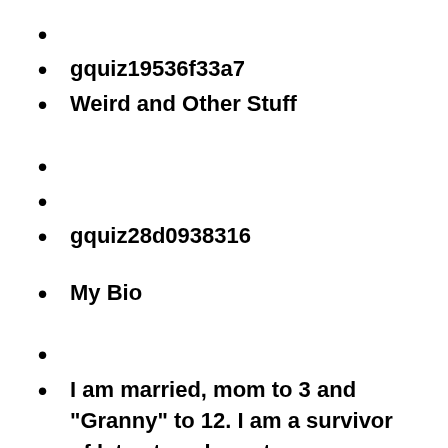gquiz19536f33a7
Weird and Other Stuff
gquiz28d0938316
My Bio
I am married, mom to 3 and "Granny" to 12. I am a survivor of late stage breast cancer, chemotherapy, radiation and 2 cardiac arrests. I am